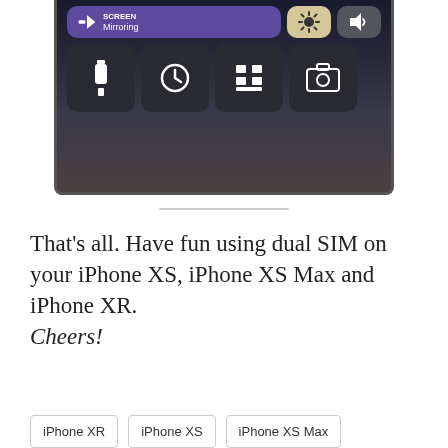[Figure (screenshot): iPhone Control Center screenshot showing Screen Mirroring button (purple), brightness button (yellow), volume button (gray), and four app shortcut icons: Flashlight, Timer, Calculator, Camera — all on a dark gradient background.]
That's all. Have fun using dual SIM on your iPhone XS, iPhone XS Max and iPhone XR. Cheers!
iPhone XR
iPhone XS
iPhone XS Max